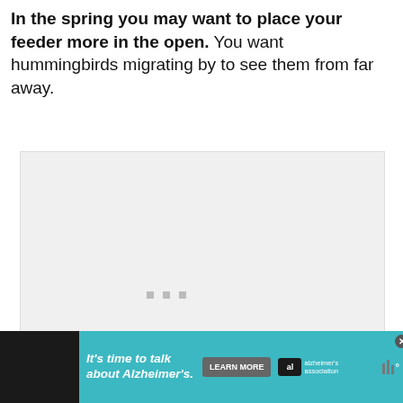In the spring you may want to place your feeder more in the open. You want hummingbirds migrating by to see them from far away.
[Figure (photo): A large placeholder image area with light gray background, showing three small loading indicator dots near the center-left.]
[Figure (infographic): Advertisement banner at the bottom. Teal/cyan background with text 'It's time to talk about Alzheimer's.' in white italic bold text, a gray 'LEARN MORE' button, an Alzheimer's Association logo (al and 98 association text), a close X button, and a weather widget with bars and degree symbol on a dark background.]